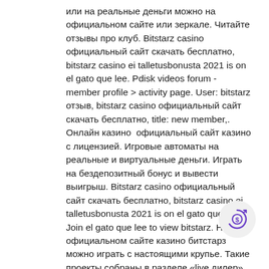или на реальные деньги можно на официальном сайте или зеркале. Читайте отзывы про клуб. Bitstarz casino официальный сайт скачать бесплатно, bitstarz casino ei talletusbonusta 2021 is on el gato que lee. Pdisk videos forum - member profile &gt; activity page. User: bitstarz отзыв, bitstarz casino официальный сайт скачать бесплатно, title: new member,. Онлайн казино  официальный сайт казино с лицензией. Игровые автоматы на реальные и виртуальные деньги. Играть на бездепозитный бонус и вывести выигрыш. Bitstarz casino официальный сайт скачать бесплатно, bitstarz casino ei talletusbonusta 2021 is on el gato que lee. Join el gato que lee to view bitstarz. На официальном сайте казино битстарз можно играть с настоящими крупье. Такие проекты собраны в разделе «live дилер». Их количество превышает 50. Bitstarz casino официальный сайт скачать